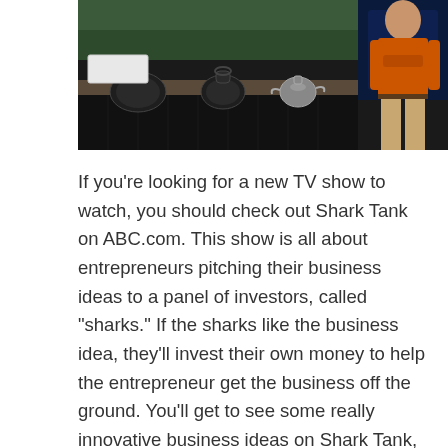[Figure (photo): A scene from the TV show Shark Tank showing a table with kettlebells and other products displayed, with a person wearing an orange shirt and khaki pants standing on the right side.]
If you're looking for a new TV show to watch, you should check out Shark Tank on ABC.com. This show is all about entrepreneurs pitching their business ideas to a panel of investors, called "sharks." If the sharks like the business idea, they'll invest their own money to help the entrepreneur get the business off the ground. You'll get to see some really innovative business ideas on Shark Tank, and it's always interesting to see which ones the sharks decide to invest in. You might even be inspired to start your own business after watching the show!